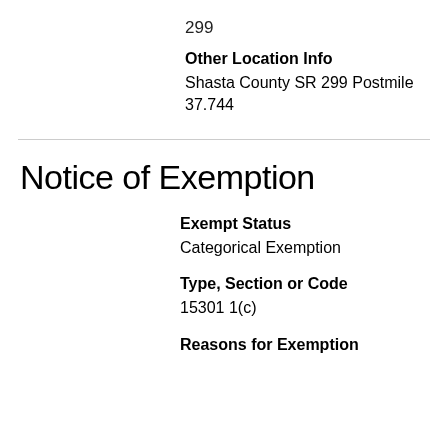299
Other Location Info
Shasta County SR 299 Postmile 37.744
Notice of Exemption
Exempt Status
Categorical Exemption
Type, Section or Code
15301 1(c)
Reasons for Exemption